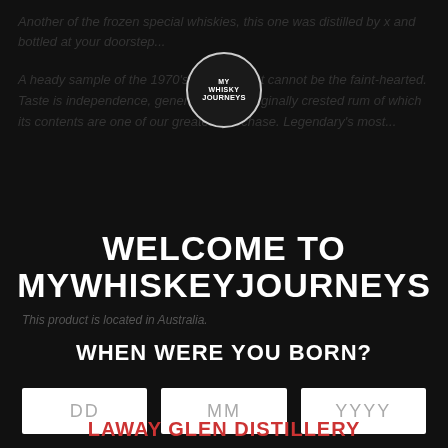Another of the frozen special whiskies, this one was distilled by x and bottled at your doorstep...
[Figure (logo): MyWhisky Journeys circular logo with text MYWHISKY JOURNEYS inside a circle]
A heady sample of the 1970's distillery that cannot be the faint-hearted. Taste is independence, generated from originally crested rum of which its contents are one of our greatest purchase. Legendary's most...
WELCOME TO MYWHISKEYJOURNEYS
This product is located in Australia.
WHEN WERE YOU BORN?
DD  MM  YYYY
LAWAY GLEN DISTILLERY